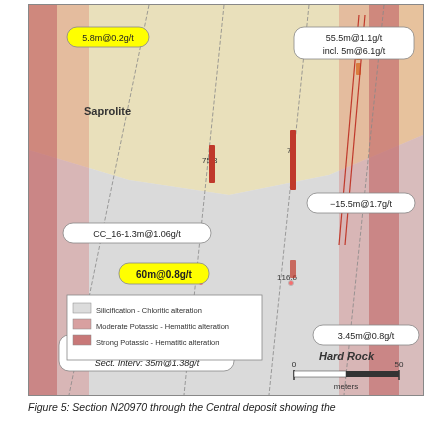[Figure (engineering-diagram): Geological cross-section N20970 through the Central deposit. Shows saprolite (yellow) and hard rock (grey/pink) zones with strongly altered potassic-hematitic zones (red-pink). Multiple drill holes shown as diagonal lines with intercept labels: 5.8m@0.2g/t, CC_16-1.3m@1.06g/t, 19m@0.3g/t, CC_02-339m@0.6g/t with Sect. Interv 35m@1.38g/t, 60m@0.8g/t, 55.5m@1.1g/t incl. 5m@6.1g/t, -15.5m@1.7g/t, 3.45m@0.8g/t. Depth markers shown at 75.3, 79, 115.7, 116.6. Legend shows three alteration types. Scale bar shows 0-50 meters.]
Figure 5: Section N20970 through the Central deposit showing the